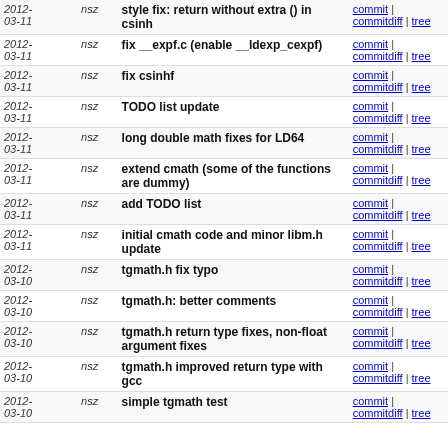| Date | Author | Message | Links |
| --- | --- | --- | --- |
| 2012-03-11 | nsz | style fix: return without extra () in csinh | commit | commitdiff | tree |
| 2012-03-11 | nsz | fix __expf.c (enable __ldexp_cexpf) | commit | commitdiff | tree |
| 2012-03-11 | nsz | fix csinhf | commit | commitdiff | tree |
| 2012-03-11 | nsz | TODO list update | commit | commitdiff | tree |
| 2012-03-11 | nsz | long double math fixes for LD64 | commit | commitdiff | tree |
| 2012-03-11 | nsz | extend cmath (some of the functions are dummy) | commit | commitdiff | tree |
| 2012-03-11 | nsz | add TODO list | commit | commitdiff | tree |
| 2012-03-11 | nsz | initial cmath code and minor libm.h update | commit | commitdiff | tree |
| 2012-03-10 | nsz | tgmath.h fix typo | commit | commitdiff | tree |
| 2012-03-10 | nsz | tgmath.h: better comments | commit | commitdiff | tree |
| 2012-03-10 | nsz | tgmath.h return type fixes, non-float argument fixes | commit | commitdiff | tree |
| 2012-03-10 | nsz | tgmath.h improved return type with gcc | commit | commitdiff | tree |
| 2012-03-10 | nsz | simple tgmath test | commit | commitdiff | tree |